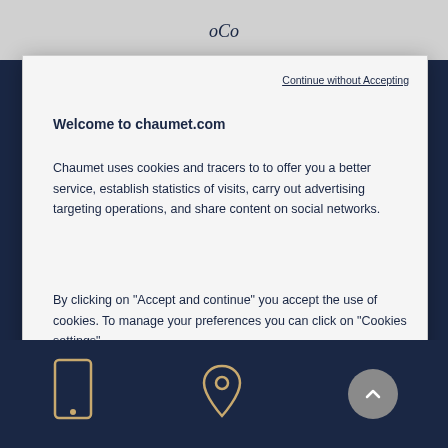Continue without Accepting
Welcome to chaumet.com
Chaumet uses cookies and tracers to to offer you a better service, establish statistics of visits, carry out advertising targeting operations, and share content on social networks.
By clicking on "Accept and continue" you accept the use of cookies. To manage your preferences you can click on "Cookies settings".
Cookies Settings
Accept and continue
[Figure (screenshot): Dark navy footer bar with phone icon, location pin icon, and circular scroll-to-top button]